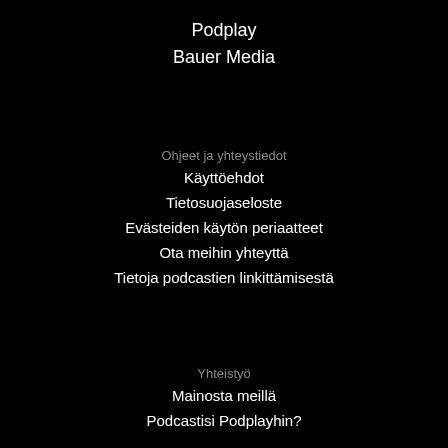Podplay
Bauer Media
Ohjeet ja yhteystiedot
Käyttöehdot
Tietosuojaseloste
Evästeiden käytön periaatteet
Ota meihin yhteyttä
Tietoja podcastien linkittämisestä
Yhteistyö
Mainosta meillä
Podcastisi Podplayhin?